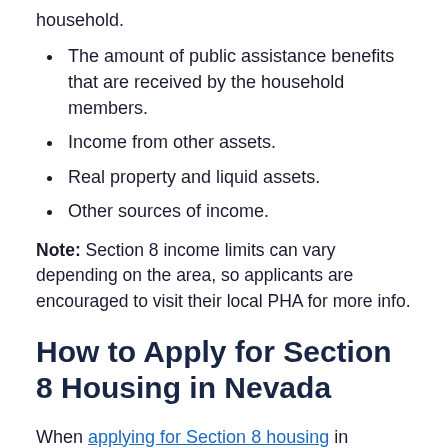household.
The amount of public assistance benefits that are received by the household members.
Income from other assets.
Real property and liquid assets.
Other sources of income.
Note: Section 8 income limits can vary depending on the area, so applicants are encouraged to visit their local PHA for more info.
How to Apply for Section 8 Housing in Nevada
When applying for Section 8 housing in Nevada, you must visit a local PHA. To complete the process, you will be required to provide information about all of your family